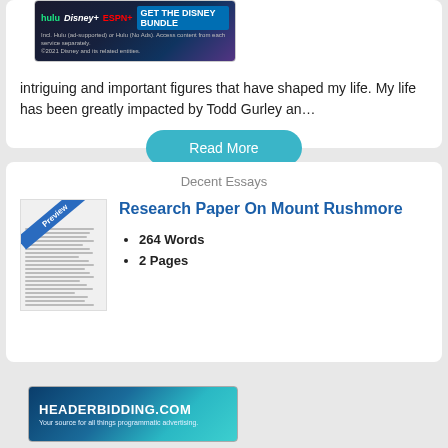[Figure (screenshot): Disney Bundle advertisement banner with Hulu, Disney+, ESPN+ logos and 'GET THE DISNEY BUNDLE' call to action]
intriguing and important figures that have shaped my life. My life has been greatly impacted by Todd Gurley an…
Read More
Decent Essays
[Figure (screenshot): Preview thumbnail of a research paper document with 'Preview' ribbon]
Research Paper On Mount Rushmore
264 Words
2 Pages
[Figure (screenshot): HEADERBIDDING.COM advertisement banner - Your source for all things programmatic advertising.]